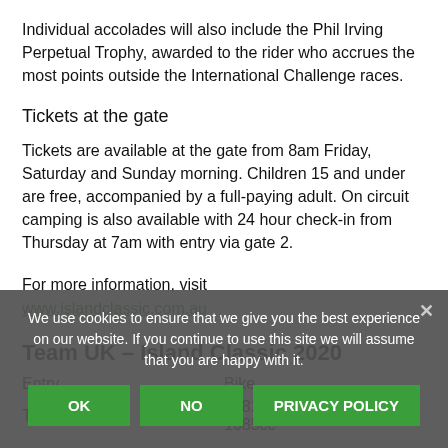Individual accolades will also include the Phil Irving Perpetual Trophy, awarded to the rider who accrues the most points outside the International Challenge races.
Tickets at the gate
Tickets are available at the gate from 8am Friday, Saturday and Sunday morning. Children 15 and under are free, accompanied by a full-paying adult. On circuit camping is also available with 24 hour check-in from Thursday at 7am with entry via gate 2.
For more information, visit
www.islandclassic.com.au
We use cookies to ensure that we give you the best experience on our website. If you continue to use this site we will assume that you are happy with it.
Team UK – Island Classic 2020
| Entry | Bike |
| --- | --- |
| Tony Hart | 1982 Harris Suzuki F1 1085cc |